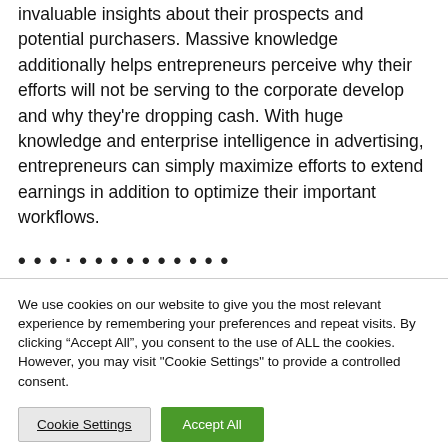invaluable insights about their prospects and potential purchasers. Massive knowledge additionally helps entrepreneurs perceive why their efforts will not be serving to the corporate develop and why they're dropping cash. With huge knowledge and enterprise intelligence in advertising, entrepreneurs can simply maximize efforts to extend earnings in addition to optimize their important workflows.
We use cookies on our website to give you the most relevant experience by remembering your preferences and repeat visits. By clicking "Accept All", you consent to the use of ALL the cookies. However, you may visit "Cookie Settings" to provide a controlled consent.